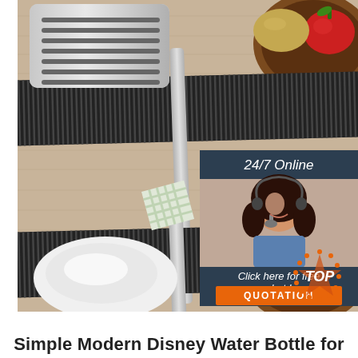[Figure (photo): Product photo of stainless steel kitchen utensils (spatula and ladle/spoon) laid on a dark ribbed mat on a wooden surface, with vegetables (tomato, potato) in a wooden bowl. Overlaid with a '24/7 Online' customer service chat widget showing a female agent with headset, a 'Click here for free chat!' message, and an orange 'QUOTATION' button. A 'TOP' badge appears in the bottom-right corner of the image.]
Simple Modern Disney Water Bottle for